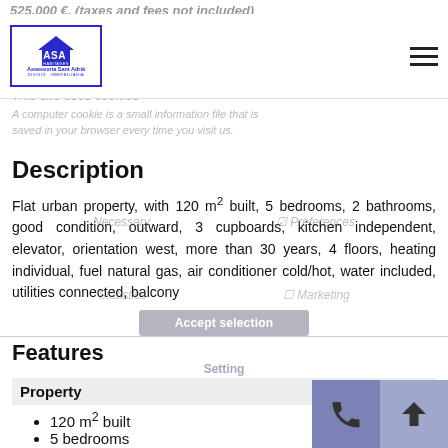[Figure (logo): ASA Habitages - Assessoria Sant Adria - Divisio Immobiliaria logo in blue]
Description
Flat urban property, with 120 m² built, 5 bedrooms, 2 bathrooms, good condition, outward, 3 cupboards, kitchen independent, elevator, orientation west, more than 30 years, 4 floors, heating individual, fuel natural gas, air conditioner cold/hot, water included, utilities connected, balcony
Features
Property
120 m² built
5 bedrooms
2 bathrooms